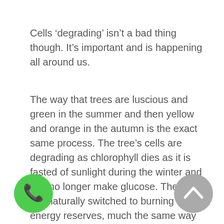Cells ‘degrading’ isn’t a bad thing though. It’s important and is happening all around us.
The way that trees are luscious and green in the summer and then yellow and orange in the autumn is the exact same process. The tree’s cells are degrading as chlorophyll dies as it is fasted of sunlight during the winter and can no longer make glucose. The leaves are naturally switched to burning stored energy reserves, much the same way that we burn our fat cells when glycogen is depleted.
[Figure (other): Green circular phone/call button with white phone handset icon]
[Figure (other): Grey circular scroll-to-top button with white upward chevron icon]